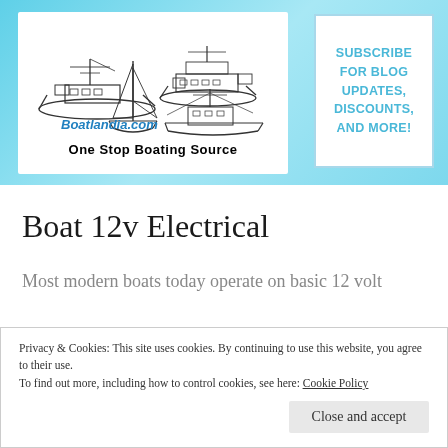[Figure (logo): Boatlandia.com logo with boat illustrations (fishing boat, cruiser, sailboat, sport fishing boat) and tagline 'One Stop Boating Source' on white background inside a cyan/teal gradient header banner. A hamburger menu icon and a white Subscribe box with cyan text 'SUBSCRIBE FOR BLOG UPDATES, DISCOUNTS, AND MORE!' are also in the header.]
Boat 12v Electrical
Most modern boats today operate on basic 12 volt
Privacy & Cookies: This site uses cookies. By continuing to use this website, you agree to their use.
To find out more, including how to control cookies, see here: Cookie Policy
Close and accept